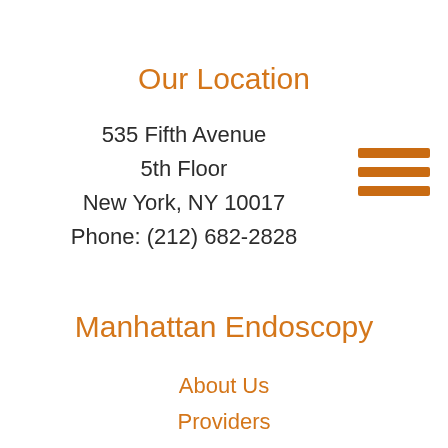Our Location
535 Fifth Avenue
5th Floor
New York, NY 10017
Phone: (212) 682-2828
Manhattan Endoscopy
About Us
Providers
Conditions
Procedures